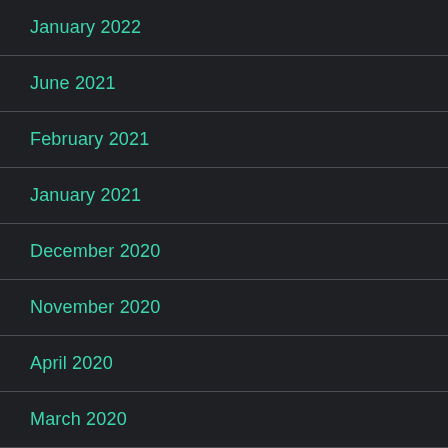January 2022
June 2021
February 2021
January 2021
December 2020
November 2020
April 2020
March 2020